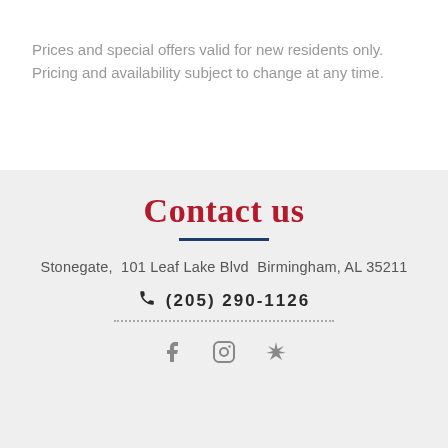Prices and special offers valid for new residents only. Pricing and availability subject to change at any time.
Contact us
Stonegate,  101 Leaf Lake Blvd  Birmingham, AL 35211
(205) 290-1126
[Figure (other): Social media icons: Facebook, Instagram, Yelp]